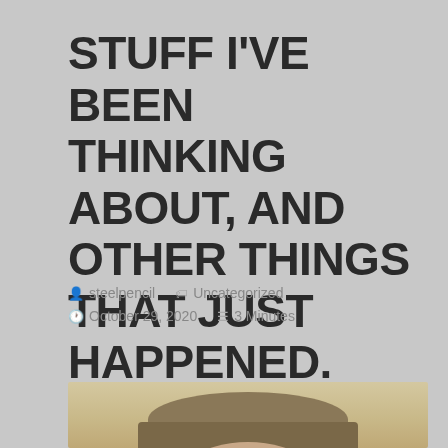STUFF I'VE BEEN THINKING ABOUT, AND OTHER THINGS THAT JUST HAPPENED.
steelpencil   Uncategorized   October 29, 2020   3 Minutes
[Figure (photo): A person wearing a tan/khaki baseball cap and dark sunglasses, photographed indoors with a bedroom/living space visible in the background including shelves with books and items.]